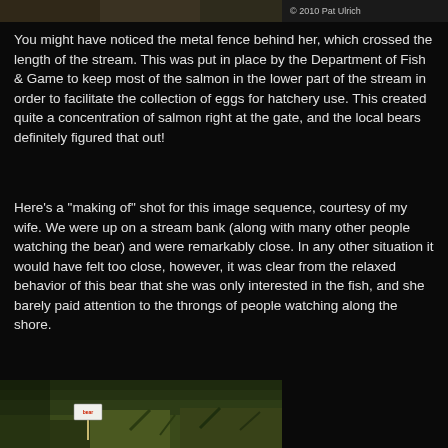[Figure (photo): Top strip of a photo showing a bear near a stream with a copyright watermark '© 2010 Pat Ulrich']
You might have noticed the metal fence behind her, which crossed the length of the stream. This was put in place by the Department of Fish & Game to keep most of the salmon in the lower part of the stream in order to facilitate the collection of eggs for hatchery use. This created quite a concentration of salmon right at the gate, and the local bears definitely figured that out!
Here's a "making of" shot for this image sequence, courtesy of my wife. We were up on a stream bank (along with many other people watching the bear) and were remarkably close. In any other situation it would have felt too close, however, it was clear from the relaxed behavior of this bear that she was only interested in the fish, and she barely paid attention to the throngs of people watching along the shore.
[Figure (photo): Bottom portion of a photo showing a stream bank with vegetation and a small sign visible]